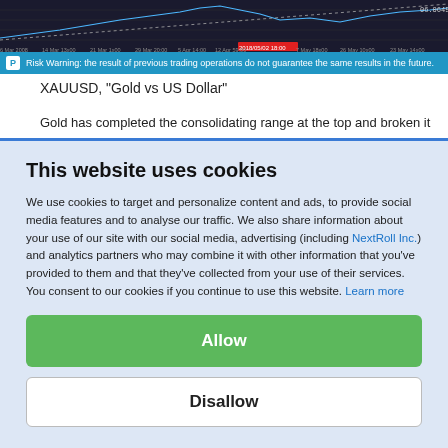[Figure (screenshot): Dark background financial chart showing XAUUSD price data with date labels along x-axis including dates from 6 Mar 2008 to 25 May, with a highlighted red date marker around 2018/05/02 18:00, and price value 06.0645 shown top right.]
Risk Warning: the result of previous trading operations do not guarantee the same results in the future.
XAUUSD, "Gold vs US Dollar"
Gold has completed the consolidating range at the top and broken it
This website uses cookies
We use cookies to target and personalize content and ads, to provide social media features and to analyse our traffic. We also share information about your use of our site with our social media, advertising (including NextRoll Inc.) and analytics partners who may combine it with other information that you've provided to them and that they've collected from your use of their services. You consent to our cookies if you continue to use this website. Learn more